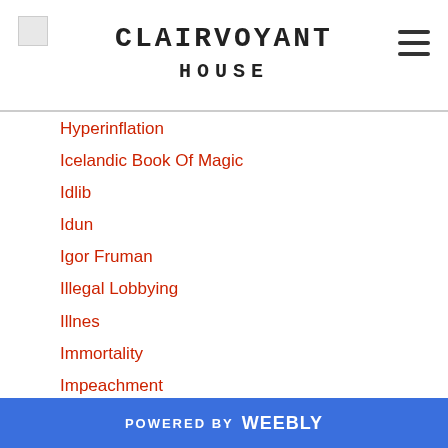CLAIRVOYANT HOUSE
Hyperinflation
Icelandic Book Of Magic
Idlib
Idun
Igor Fruman
Illegal Lobbying
Illnes
Immortality
Impeachment
Impeachment Hearings
Impeachment Inquiry
Impeachment Probe
Import
India
India-China War 2020
POWERED BY weebly